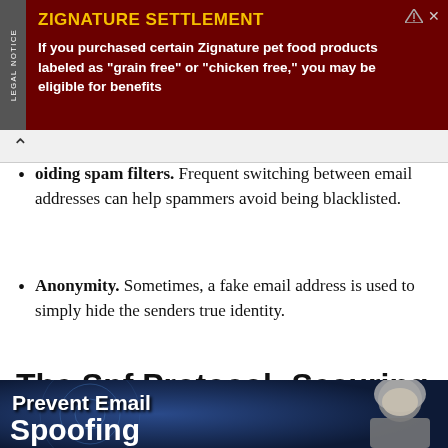[Figure (infographic): Advertisement banner for Zignature Settlement. Dark red background with yellow title 'ZIGNATURE SETTLEMENT' and white body text: 'If you purchased certain Zignature pet food products labeled as "grain free" or "chicken free," you may be eligible for benefits'. Left side has vertical 'LEGAL NOTICE' label.]
oiding spam filters. Frequent switching between email addresses can help spammers avoid being blacklisted.
Anonymity. Sometimes, a fake email address is used to simply hide the senders true identity.
The Spf Protocol: Securing The Sending Servers
[Figure (photo): Thumbnail image with dark blue tech background showing text 'Prevent Email Spoofing' with a hooded figure on the right side.]